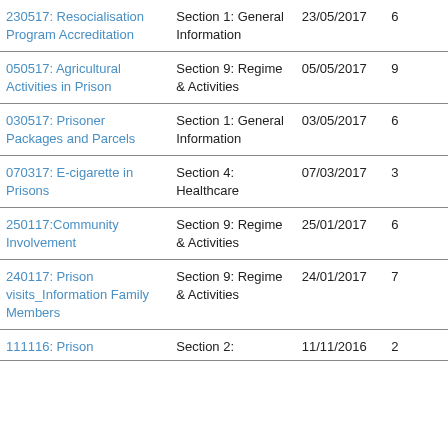| Name | Section | Date | Num |
| --- | --- | --- | --- |
| 230517: Resocialisation Program Accreditation | Section 1: General Information | 23/05/2017 | 6 |
| 050517: Agricultural Activities in Prison | Section 9: Regime & Activities | 05/05/2017 | 9 |
| 030517: Prisoner Packages and Parcels | Section 1: General Information | 03/05/2017 | 6 |
| 070317: E-cigarette in Prisons | Section 4: Healthcare | 07/03/2017 | 3 |
| 250117:Community Involvement | Section 9: Regime & Activities | 25/01/2017 | 6 |
| 240117: Prison visits_Information Family Members | Section 9: Regime & Activities | 24/01/2017 | 7 |
| 111116: Prison | Section 2: | 11/11/2016 | 2 |